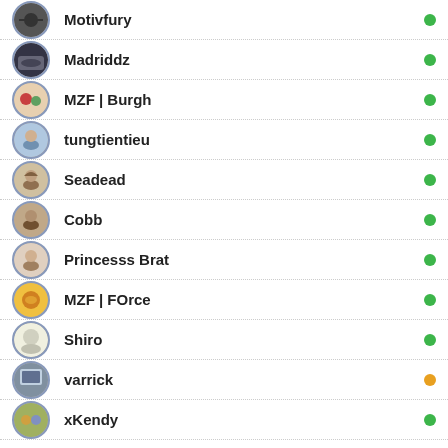Motivfury
Madriddz
MZF | Burgh
tungtientieu
Seadead
Cobb
Princesss Brat
MZF | FOrce
Shiro
varrick
xKendy